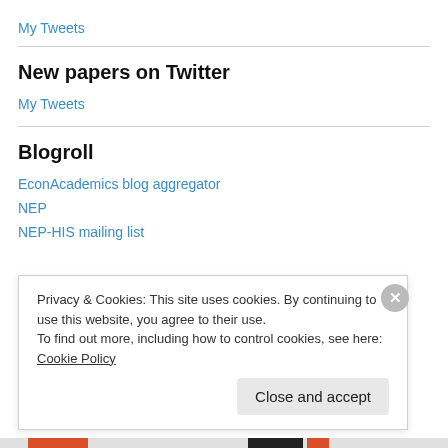My Tweets
New papers on Twitter
My Tweets
Blogroll
EconAcademics blog aggregator
NEP
NEP-HIS mailing list
Privacy & Cookies: This site uses cookies. By continuing to use this website, you agree to their use. To find out more, including how to control cookies, see here: Cookie Policy